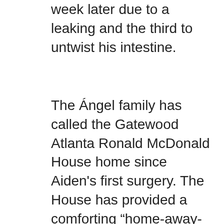week later due to a leaking and the third to untwist his intestine.
The Ángel family has called the Gatewood Atlanta Ronald McDonald House home since Aiden's first surgery. The House has provided a comforting “home-away-from-home” for Jackie and Andrez, allowing them to be close to Aiden without worrying about expensive hotel fees.  Jackie describes the House community as a big family